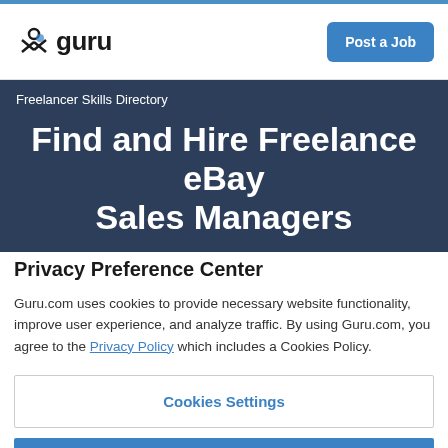guru — Post a Job
Freelancer Skills Directory
Find and Hire Freelance eBay Sales Managers
Privacy Preference Center
Guru.com uses cookies to provide necessary website functionality, improve user experience, and analyze traffic. By using Guru.com, you agree to the Privacy Policy which includes a Cookies Policy.
Cookies Settings
Reject All